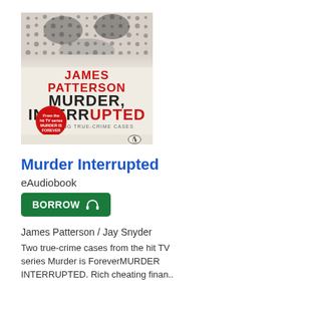[Figure (illustration): Book cover of 'Murder, Interrupted' by James Patterson. Black and white halftone face image at top. Red text reading 'JAMES PATTERSON'. Black bold text 'MURDER, INTERRUPTED'. Grey subtitle 'SHOCKING TRUE-CRIME CASES'. Red circular badge reading 'From the hit TV series MURDER IS FOREVER'. Penguin Books logo bottom right.]
Murder Interrupted
eAudiobook
BORROW
James Patterson / Jay Snyder
Two true-crime cases from the hit TV series Murder is ForeverMURDER INTERRUPTED. Rich cheating finan..